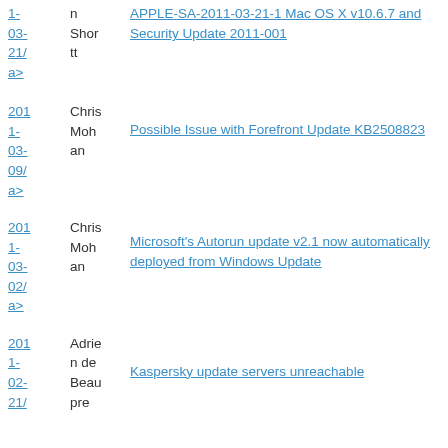2011-03-21/ a> | n Shortt | APPLE-SA-2011-03-21-1 Mac OS X v10.6.7 and Security Update 2011-001
2011-03-09/ a> | Chris Mohan | Possible Issue with Forefront Update KB2508823
2011-03-02/ a> | Chris Mohan | Microsoft's Autorun update v2.1 now automatically deployed from Windows Update
2011-02-21/ | Adrien de Beaupre | Kaspersky update servers unreachable